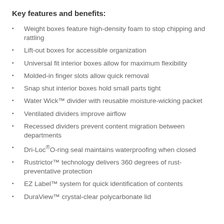Key features and benefits:
Weight boxes feature high-density foam to stop chipping and rattling
Lift-out boxes for accessible organization
Universal fit interior boxes allow for maximum flexibility
Molded-in finger slots allow quick removal
Snap shut interior boxes hold small parts tight
Water Wick™ divider with reusable moisture-wicking packet
Ventilated dividers improve airflow
Recessed dividers prevent content migration between departments
Dri-Loc®O-ring seal maintains waterproofing when closed
Rustrictor™ technology delivers 360 degrees of rust-preventative protection
EZ Label™ system for quick identification of contents
DuraView™ crystal-clear polycarbonate lid